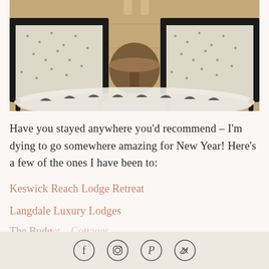[Figure (photo): Interior photo showing two patterned armchairs with black frames facing each other on a fluffy white rug, with a round wooden side table between them and a wooden floor visible in the background.]
Have you stayed anywhere you'd recommend – I'm dying to go somewhere amazing for New Year! Here's a few of the ones I have been to:
Keswick Reach Lodge Retreat
Langdale Luxury Lodges
The Budget... Cottages
[Figure (other): Social media icons bar showing Facebook, Instagram, Pinterest, and Twitter icons on a light beige background.]